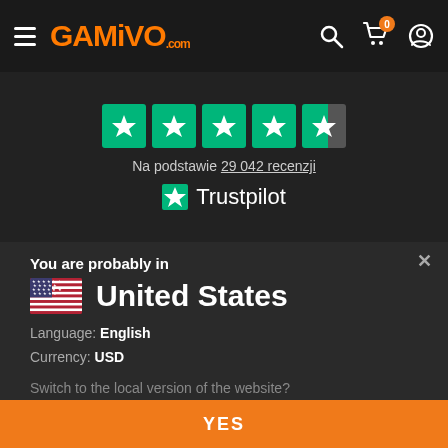[Figure (logo): GAMIVO.com logo in orange with hamburger menu and navigation icons on dark header bar]
[Figure (other): Trustpilot rating section showing 4.5 stars out of 5 on green boxes, text 'Na podstawie 29 042 recenzji' and Trustpilot logo]
You are probably in
United States
Language: English
Currency: USD
Switch to the local version of the website?
YES